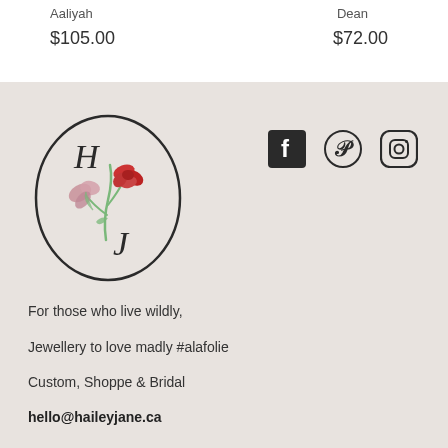Aaliyah
$105.00
Dean
$72.00
[Figure (logo): HJ logo inside an oval, with illustrated flowers (red rose and pink flower) and the letters H and J in a handwritten style]
[Figure (illustration): Social media icons: Facebook, Pinterest, and Instagram]
For those who live wildly,
Jewellery to love madly #alafolie
Custom, Shoppe & Bridal
hello@haileyjane.ca